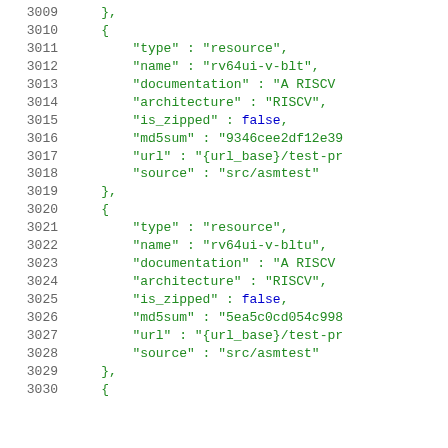JSON code snippet showing resource definitions for rv64ui-v-blt and rv64ui-v-bltu with type, name, documentation, architecture, is_zipped, md5sum, url, and source fields, lines 3009-3030